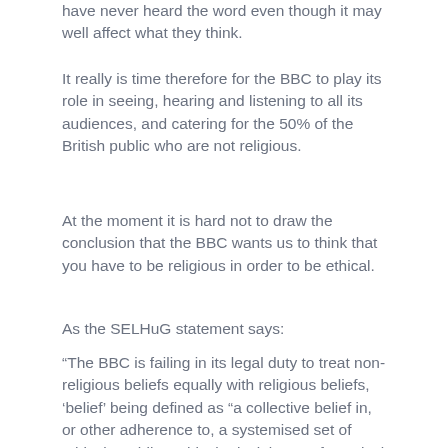have never heard the word even though it may well affect what they think.
It really is time therefore for the BBC to play its role in seeing, hearing and listening to all its audiences, and catering for the 50% of the British public who are not religious.
At the moment it is hard not to draw the conclusion that the BBC wants us to think that you have to be religious in order to be ethical.
As the SELHuG statement says:
“The BBC is failing in its legal duty to treat non-religious beliefs equally with religious beliefs, ‘belief’ being defined as “a collective belief in, or other adherence to, a systemised set of ethical or philosophical principles or of mystical or transcendental doctrines” (Communications Act 2003).